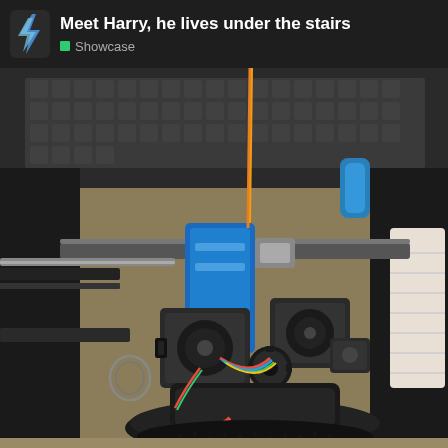Meet Harry, he lives under the stairs | Showcase
[Figure (photo): A 3D printer or robot assembly with a blue extruder/motor mount, gears, colorful wiring, a small circuit board, mounted on a round black base. The device is positioned inside what appears to be an enclosure with acoustic foam, metal rails, and a blue bracket. An orange filament strand hangs from the top. Various mechanical components including stepper motors, pulleys, and a gear system are visible. Background shows a shelf or surface with a patterned object.]